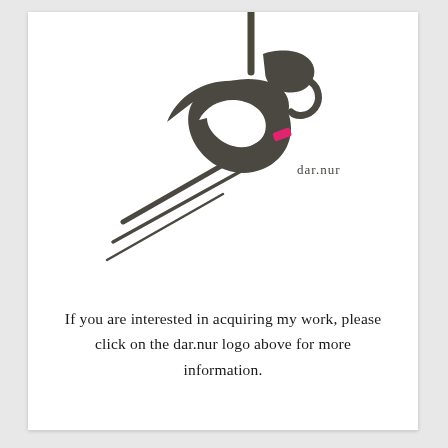[Figure (logo): dar.nur Arabic calligraphy logo with stylized Arabic script in dark olive/charcoal color, a hot pink accent mark, diagonal swooping lines, and 'dar.nur' in Latin text below the Arabic.]
If you are interested in acquiring my work, please click on the dar.nur logo above for more information.